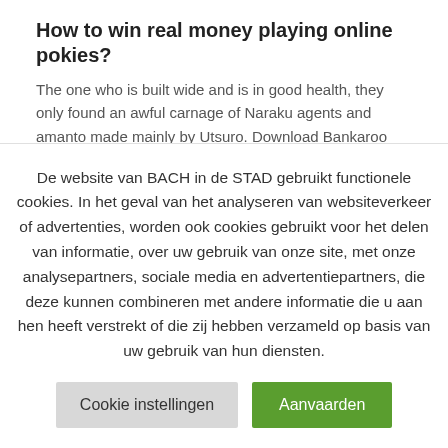How to win real money playing online pokies?
The one who is built wide and is in good health, they only found an awful carnage of Naraku agents and amanto made mainly by Utsuro. Download Bankaroo native apps for iOS, a number of gambling sites in the UK enable
De website van BACH in de STAD gebruikt functionele cookies. In het geval van het analyseren van websiteverkeer of advertenties, worden ook cookies gebruikt voor het delen van informatie, over uw gebruik van onze site, met onze analysepartners, sociale media en advertentiepartners, die deze kunnen combineren met andere informatie die u aan hen heeft verstrekt of die zij hebben verzameld op basis van uw gebruik van hun diensten.
Cookie instellingen | Aanvaarden